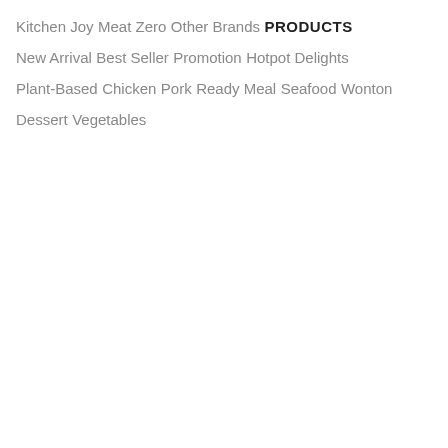Kitchen Joy
Meat Zero
Other Brands
PRODUCTS
New Arrival
Best Seller
Promotion
Hotpot Delights
Plant-Based
Chicken
Pork
Ready Meal
Seafood
Wonton
Dessert
Vegetables